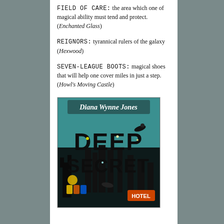FIELD OF CARE: the area which one of magical ability must tend and protect. (Enchanted Glass)
REIGNORS: tyrannical rulers of the galaxy (Hexwood)
SEVEN-LEAGUE BOOTS: magical shoes that will help one cover miles in just a step. (Howl's Moving Castle)
[Figure (photo): Book cover of 'Deep Secret' by Diana Wynne Jones, featuring fantasy castle silhouettes, a hotel sign, and the author's stylized name at the top, with a teal/dark color scheme.]